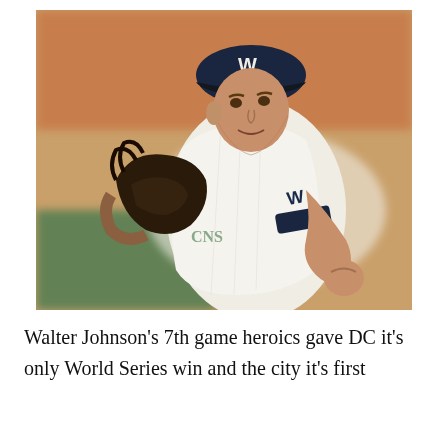[Figure (photo): A baseball pitcher wearing a white Washington Nationals uniform with a 'W' logo on the cap and jersey sleeve, in mid-delivery stance holding a dark leather glove, with a blurred stadium background.]
Walter Johnson's 7th game heroics gave DC it's only World Series win and the city it's first